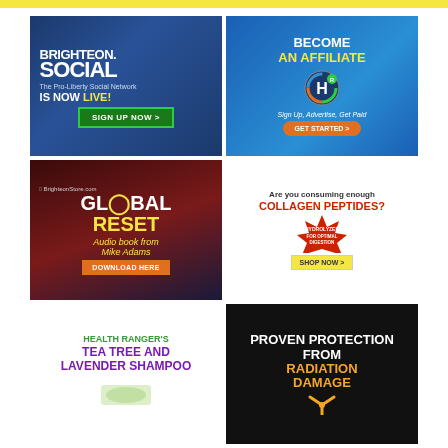[Figure (infographic): Yellow top bar banner]
[Figure (infographic): Brighteon.Social ad - The Pro-Liberty Social Network IS NOW LIVE! SIGN UP NOW >]
[Figure (infographic): Become An Affiliate ad - HealthRanger H logo. Sign Up, Advertise, Get Paid. GET STARTED >]
[Figure (infographic): Global Reset Audio book from Mike Adams. BrighteonStore.com. DOWNLOAD HERE]
[Figure (infographic): Are you consuming enough COLLAGEN PEPTIDES? Hydrolyzed for optimal digestion. SHOP NOW >]
[Figure (infographic): Health Ranger's Tea Tree and Lavender Shampoo]
[Figure (infographic): Proven Protection From Radiation Damage]